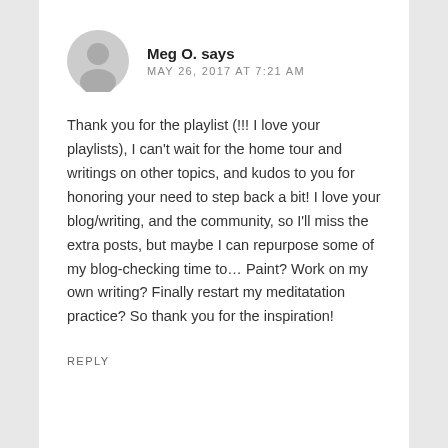Meg O. says
MAY 26, 2017 AT 7:21 AM
Thank you for the playlist (!!! I love your playlists), I can't wait for the home tour and writings on other topics, and kudos to you for honoring your need to step back a bit! I love your blog/writing, and the community, so I'll miss the extra posts, but maybe I can repurpose some of my blog-checking time to… Paint? Work on my own writing? Finally restart my meditatation practice? So thank you for the inspiration!
REPLY